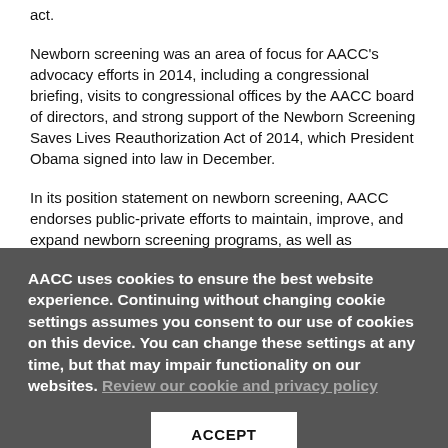act.
Newborn screening was an area of focus for AACC's advocacy efforts in 2014, including a congressional briefing, visits to congressional offices by the AACC board of directors, and strong support of the Newborn Screening Saves Lives Reauthorization Act of 2014, which President Obama signed into law in December.
In its position statement on newborn screening, AACC endorses public-private efforts to maintain, improve, and expand newborn screening programs, as well as evidence-based efforts to identify additional conditions for screening and the use of residual specimens for quality assurance and continuous
AACC uses cookies to ensure the best website experience. Continuing without changing cookie settings assumes you consent to our use of cookies on this device. You can change these settings at any time, but that may impair functionality on our websites. Review our cookie and privacy policy